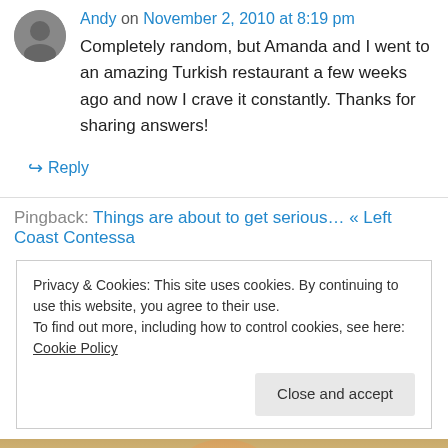Andy on November 2, 2010 at 8:19 pm
Completely random, but Amanda and I went to an amazing Turkish restaurant a few weeks ago and now I crave it constantly. Thanks for sharing answers!
↪ Reply
Pingback: Things are about to get serious… « Left Coast Contessa
Privacy & Cookies: This site uses cookies. By continuing to use this website, you agree to their use.
To find out more, including how to control cookies, see here: Cookie Policy
Close and accept
[Figure (photo): Partial bottom of page showing top of a person's head photo]